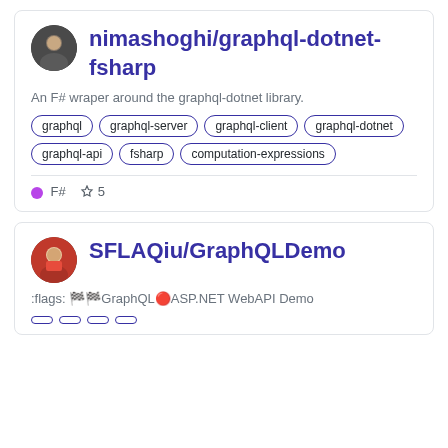nimashoghi/graphql-dotnet-fsharp
An F# wraper around the graphql-dotnet library.
graphql  graphql-server  graphql-client  graphql-dotnet  graphql-api  fsharp  computation-expressions
F#  ☆5
SFLAQiu/GraphQLDemo
:flags: 🏁🏁GraphQL🔴ASP.NET WebAPI Demo